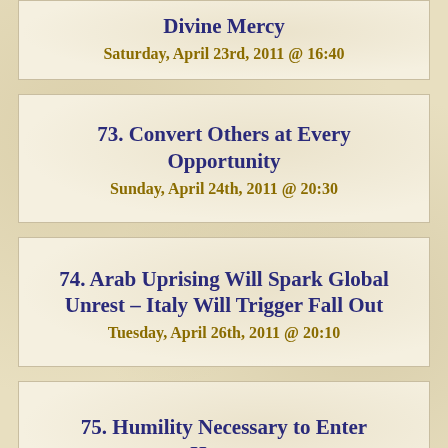Divine Mercy
Saturday, April 23rd, 2011 @ 16:40
73. Convert Others at Every Opportunity
Sunday, April 24th, 2011 @ 20:30
74. Arab Uprising Will Spark Global Unrest – Italy Will Trigger Fall Out
Tuesday, April 26th, 2011 @ 20:10
75. Humility Necessary to Enter Heaven